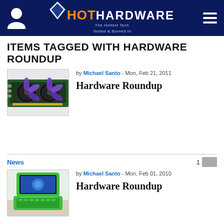HotHardware - The Hottest Tech Tested & Burned In
ITEMS TAGGED WITH HARDWARE ROUNDUP
by Michael Santo - Mon, Feb 21, 2011
[Figure (photo): Photo of a dual-fan GPU graphics card with purple fans]
Hardware Roundup
News
by Michael Santo - Mon, Feb 01, 2010
[Figure (photo): Photo of a green OLPC laptop on a desk]
Hardware Roundup